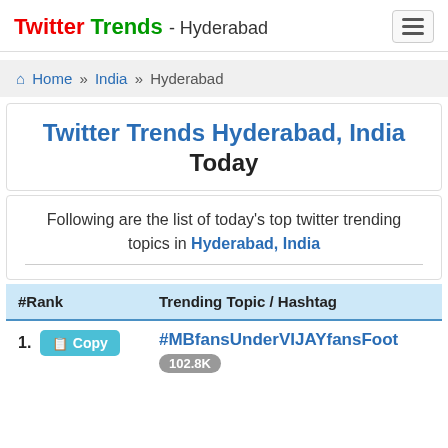Twitter Trends - Hyderabad
Home » India » Hyderabad
Twitter Trends Hyderabad, India Today
Following are the list of today's top twitter trending topics in Hyderabad, India
| #Rank | Trending Topic / Hashtag |
| --- | --- |
| 1. Copy | #MBfansUnderVIJAYfansFoot
102.8K |